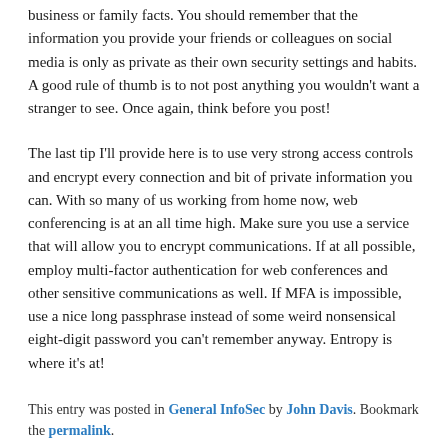business or family facts. You should remember that the information you provide your friends or colleagues on social media is only as private as their own security settings and habits. A good rule of thumb is to not post anything you wouldn't want a stranger to see. Once again, think before you post!
The last tip I'll provide here is to use very strong access controls and encrypt every connection and bit of private information you can. With so many of us working from home now, web conferencing is at an all time high. Make sure you use a service that will allow you to encrypt communications. If at all possible, employ multi-factor authentication for web conferences and other sensitive communications as well. If MFA is impossible, use a nice long passphrase instead of some weird nonsensical eight-digit password you can't remember anyway. Entropy is where it's at!
This entry was posted in General InfoSec by John Davis. Bookmark the permalink.